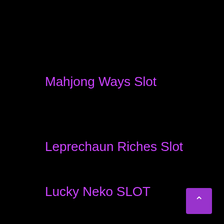Mahjong Ways Slot
Leprechaun Riches Slot
Lucky Neko SLOT
[Figure (other): Purple square button with an upward caret/chevron arrow, positioned bottom-right corner]